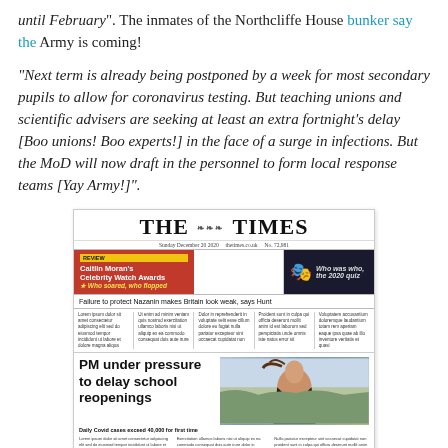until February". The inmates of the Northcliffe House bunker say the Army is coming!
“Next term is already being postponed by a week for most secondary pupils to allow for coronavirus testing. But teaching unions and scientific advisers are seeking at least an extra fortnight’s delay [Boo unions! Boo experts!] in the face of a surge in infections. But the MoD will now draft in the personnel to form local response teams [Yay Army!]”.
[Figure (screenshot): Screenshot of The Times newspaper front page showing headline 'PM under pressure to delay school reopenings', with promo for 'Caitlin Moran's Celebrity Watch Awards - Who soared, who flopped', a Star Wars Darth Vader image for '2020 quiz', and headline 'Failure to protect Nazanin makes Britain look weak, says Hunt'.]